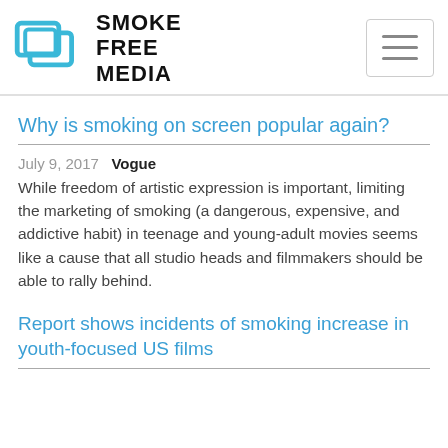SMOKE FREE MEDIA
Why is smoking on screen popular again?
July 9, 2017   Vogue
While freedom of artistic expression is important, limiting the marketing of smoking (a dangerous, expensive, and addictive habit) in teenage and young-adult movies seems like a cause that all studio heads and filmmakers should be able to rally behind.
Report shows incidents of smoking increase in youth-focused US films